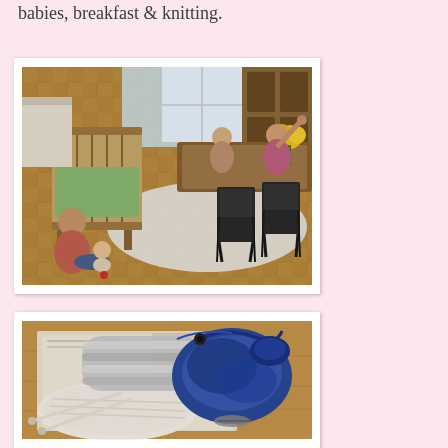babies, breakfast & knitting.
[Figure (photo): Indoor photo of a living/dining room with women and babies. A baby crib is visible on the left, two women sit on the floor with a baby, and another woman sits at a dining table with modern black chairs. Yellow flowers are visible in the background near a wooden cabinet.]
[Figure (photo): Close-up photo of knitting projects on a table. White and grey striped knitting in progress with needles, and a blue yarn item with blue fluffy yarn/thread, laid out on papers/magazines.]